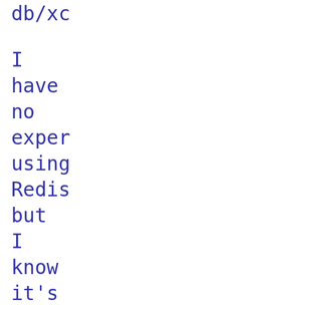db/xc
I have no experience using Redis but I know it's a TCP-based service
The easiest might be a Thread local connection with Thread
def redis